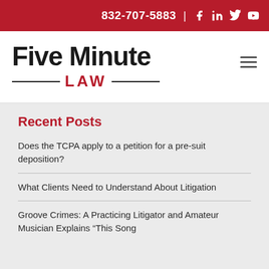832-707-5883
Five Minute LAW
Recent Posts
Does the TCPA apply to a petition for a pre-suit deposition?
What Clients Need to Understand About Litigation
Groove Crimes: A Practicing Litigator and Amateur Musician Explains “This Song